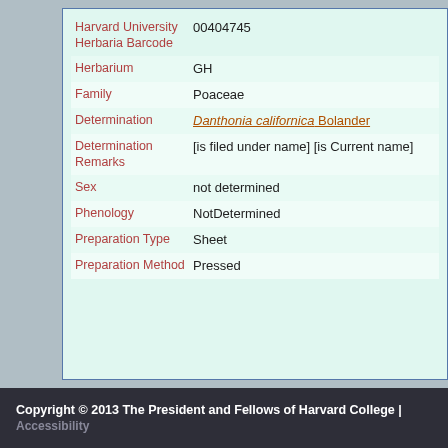| Field | Value |
| --- | --- |
| Harvard University Herbaria Barcode | 00404745 |
| Herbarium | GH |
| Family | Poaceae |
| Determination | Danthonia californica Bolander |
| Determination Remarks | [is filed under name] [is Current name] |
| Sex | not determined |
| Phenology | NotDetermined |
| Preparation Type | Sheet |
| Preparation Method | Pressed |
Copyright © 2013 The President and Fellows of Harvard College | Accessibility